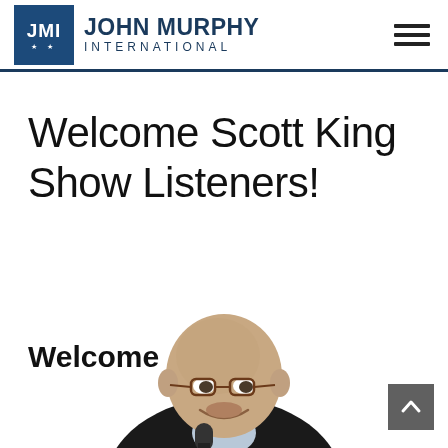[Figure (logo): John Murphy International logo with JMI initials in a dark blue box and text 'JOHN MURPHY INTERNATIONAL' beside it]
Welcome Scott King Show Listeners!
[Figure (photo): Photo of a bald man wearing glasses and a dark suit, smiling, holding a microphone]
Welcome